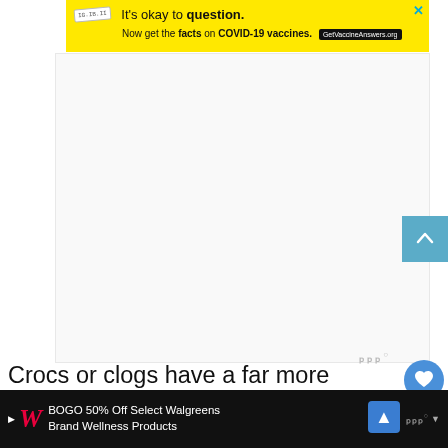[Figure (screenshot): Yellow advertisement banner: 'It's okay to question. Now get the facts on COVID-19 vaccines. GetVaccineAnswers.org']
[Figure (screenshot): Large empty white advertisement placeholder area]
Crocs or clogs have a far more durable build than trainers or boots. Because you'll be supporting and carrying patients as part
[Figure (screenshot): Bottom advertisement bar: BOGO 50% Off Select Walgreens Brand Wellness Products]